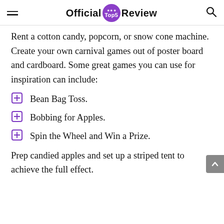Official Top5 Review
Rent a cotton candy, popcorn, or snow cone machine. Create your own carnival games out of poster board and cardboard. Some great games you can use for inspiration can include:
Bean Bag Toss.
Bobbing for Apples.
Spin the Wheel and Win a Prize.
Prep candied apples and set up a striped tent to achieve the full effect.